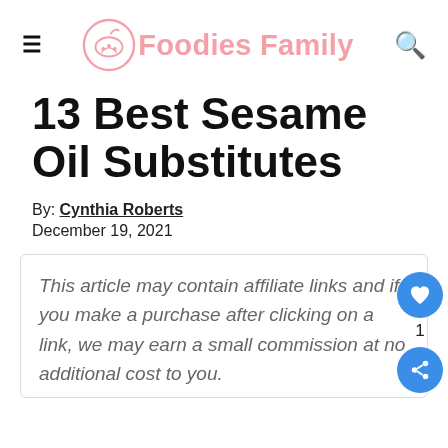Foodies Family
13 Best Sesame Oil Substitutes
By: Cynthia Roberts
December 19, 2021
This article may contain affiliate links and if you make a purchase after clicking on a link, we may earn a small commission at no additional cost to you.